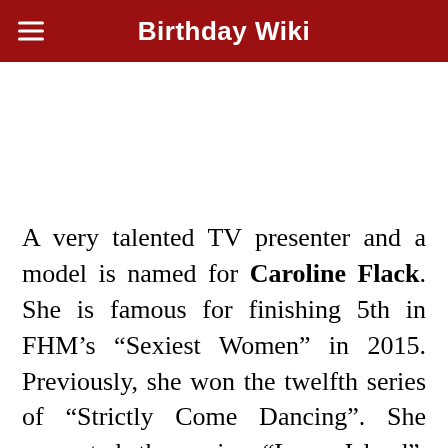Birthday Wiki
A very talented TV presenter and a model is named for Caroline Flack. She is famous for finishing 5th in FHM’s “Sexiest Women” in 2015. Previously, she won the twelfth series of “Strictly Come Dancing”. She presented the series “Love Island”. Similarly, she also presented “The Xtra Factor” from 2011 to